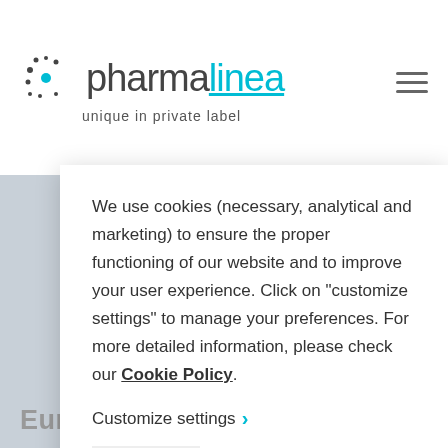[Figure (logo): Pharmalinea logo with dot cluster graphic, company name in grey and teal, tagline 'unique in private label']
We use cookies (necessary, analytical and marketing) to ensure the proper functioning of our website and to improve your user experience. Click on “customize settings” to manage your preferences. For more detailed information, please check our Cookie Policy.
Customize settings ›
got it!
Europe Steering Committee.